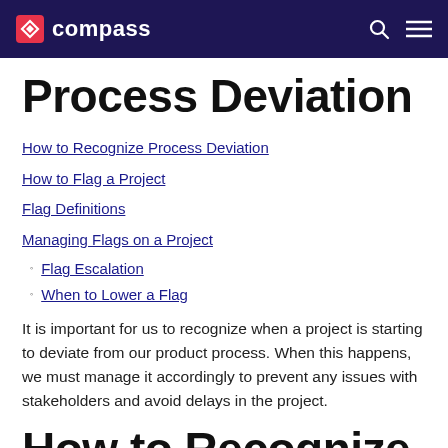compass
Process Deviation
How to Recognize Process Deviation
How to Flag a Project
Flag Definitions
Managing Flags on a Project
Flag Escalation
When to Lower a Flag
It is important for us to recognize when a project is starting to deviate from our product process. When this happens, we must manage it accordingly to prevent any issues with stakeholders and avoid delays in the project.
How to Recognize